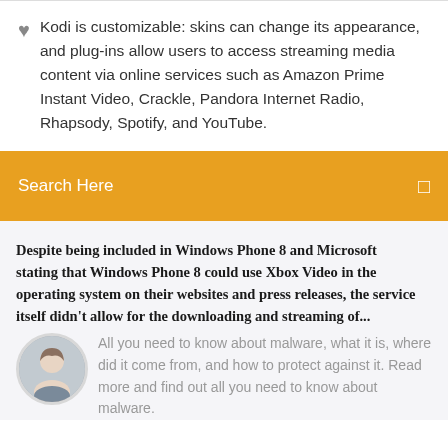Kodi is customizable: skins can change its appearance, and plug-ins allow users to access streaming media content via online services such as Amazon Prime Instant Video, Crackle, Pandora Internet Radio, Rhapsody, Spotify, and YouTube.
Search Here
Despite being included in Windows Phone 8 and Microsoft stating that Windows Phone 8 could use Xbox Video in the operating system on their websites and press releases, the service itself didn't allow for the downloading and streaming of...
All you need to know about malware, what it is, where did it come from, and how to protect against it. Read more and find out all you need to know about malware.